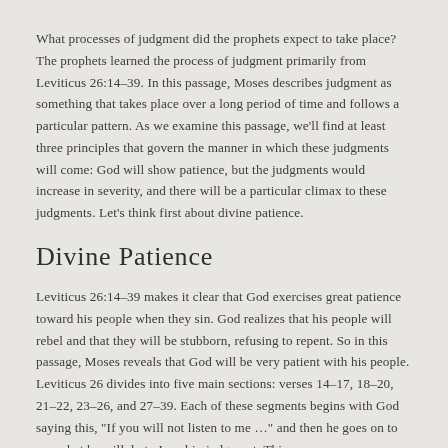What processes of judgment did the prophets expect to take place? The prophets learned the process of judgment primarily from Leviticus 26:14–39. In this passage, Moses describes judgment as something that takes place over a long period of time and follows a particular pattern. As we examine this passage, we'll find at least three principles that govern the manner in which these judgments will come: God will show patience, but the judgments would increase in severity, and there will be a particular climax to these judgments. Let's think first about divine patience.
Divine Patience
Leviticus 26:14–39 makes it clear that God exercises great patience toward his people when they sin. God realizes that his people will rebel and that they will be stubborn, refusing to repent. So in this passage, Moses reveals that God will be very patient with his people. Leviticus 26 divides into five main sections: verses 14–17, 18–20, 21–22, 23–26, and 27–39. Each of these segments begins with God saying this, "If you will not listen to me …" and then he goes on to say what he will do to Israel in judgment. This